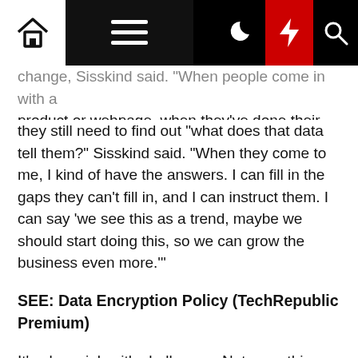[Navigation bar with home, menu, moon, lightning, search icons]
change, Sisskind said. "When people come in with a product or webpage, when they've done their data, they still need to find out "what does that data tell them?" Sisskind said. "When they come to me, I kind of have the answers. I can fill in the gaps they can't fill in, and I can instruct them. I can say 'we see this as a trend, maybe we should start doing this, so we can grow the business even more.'"
SEE: Data Encryption Policy (TechRepublic Premium)
It's also a job with challenges. Not everything he recommends will be accepted and implemented, for instance. And when Sisskind has to report numbers, it's not always positive news he's sharing. "It can be hard for someone to hear. You have to make sure that the numbers are not only accurate, but they can